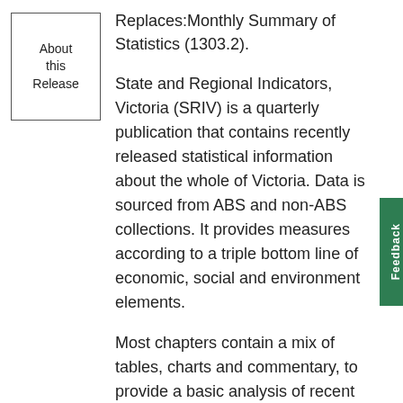About this Release
Replaces:Monthly Summary of Statistics (1303.2).
State and Regional Indicators, Victoria (SRIV) is a quarterly publication that contains recently released statistical information about the whole of Victoria. Data is sourced from ABS and non-ABS collections. It provides measures according to a triple bottom line of economic, social and environment elements.
Most chapters contain a mix of tables, charts and commentary, to provide a basic analysis of recent movements in key economic, social and environmental data. Data is presented for varying geographic